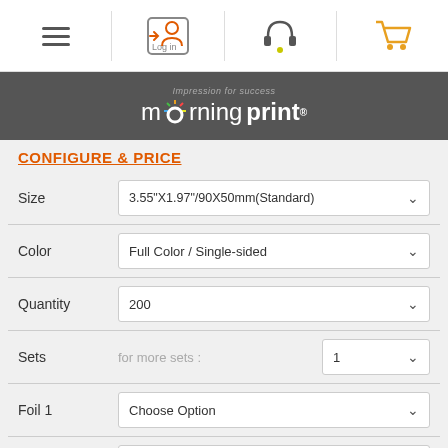Navigation bar with menu, login, support, and cart icons
[Figure (logo): Morning Print logo with tagline 'Impression for success' on dark grey background]
CONFIGURE & PRICE
| Field | Value |
| --- | --- |
| Size | 3.55"X1.97"/90X50mm(Standard) |
| Color | Full Color / Single-sided |
| Quantity | 200 |
| Sets | for more sets : 1 |
| Foil 1 | Choose Option |
| Foil 2 | Choose Option |
| Embossing | Choose Option |
| Raised Ink | Choose Option |